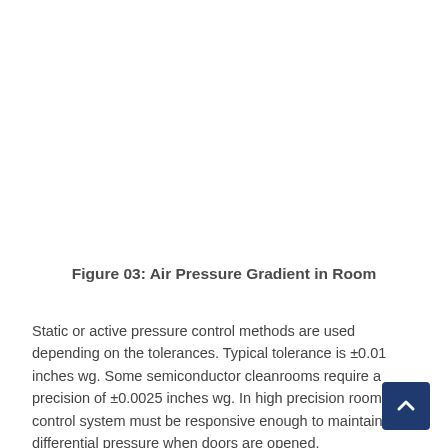Figure 03: Air Pressure Gradient in Room
Static or active pressure control methods are used depending on the tolerances. Typical tolerance is ±0.01 inches wg. Some semiconductor cleanrooms require a precision of ±0.0025 inches wg. In high precision rooms the control system must be responsive enough to maintain the differential pressure when doors are opened.